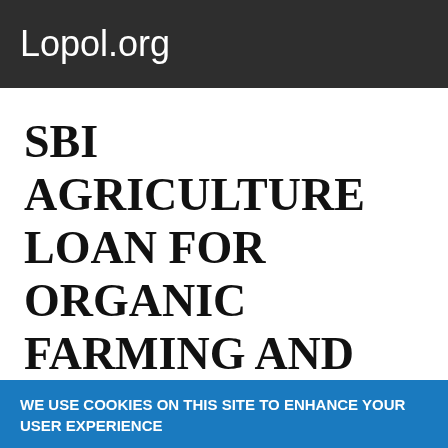Lopol.org
SBI AGRICULTURE LOAN FOR ORGANIC FARMING AND ORGANIC INPUT PRODUCE
WE USE COOKIES ON THIS SITE TO ENHANCE YOUR USER EXPERIENCE